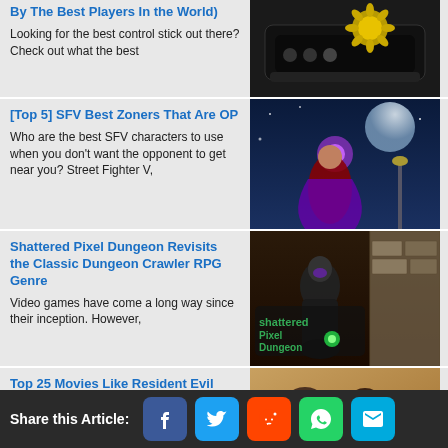By The Best Players In the World)
Looking for the best control stick out there? Check out what the best
[Figure (photo): Photo of a gaming arcade stick controller with yellow/gold sunflower-like buttons on a black background]
[Top 5] SFV Best Zoners That Are OP
Who are the best SFV characters to use when you don't want the opponent to get near you? Street Fighter V,
[Figure (photo): Illustrated character from Street Fighter V, a female fighter with a large moon in the background]
Shattered Pixel Dungeon Revisits the Classic Dungeon Crawler RPG Genre
Video games have come a long way since their inception. However,
[Figure (photo): Shattered Pixel Dungeon game screenshot showing a character and dungeon logo]
Top 25 Movies Like Resident Evil
Let's face it, most zombie movies and movies based off of video games are terrible.
[Figure (photo): Two women in action pose from a Resident Evil-style movie]
Share this Article: